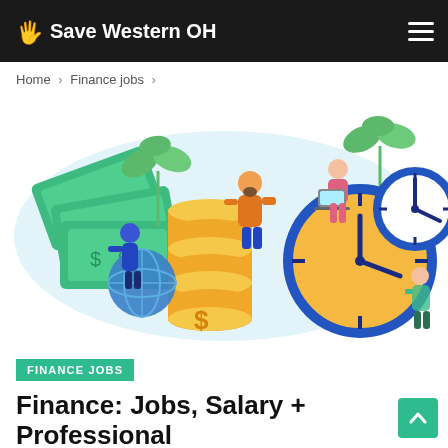Save Western OH
Home > Finance jobs >
[Figure (illustration): Flat-style illustration of people managing finance: gold coin stacks, dollar bills, globe, clocks, handshake, and plants on a light blue cloud background]
FINANCE JOBS
Finance: Jobs, Salary + Professional